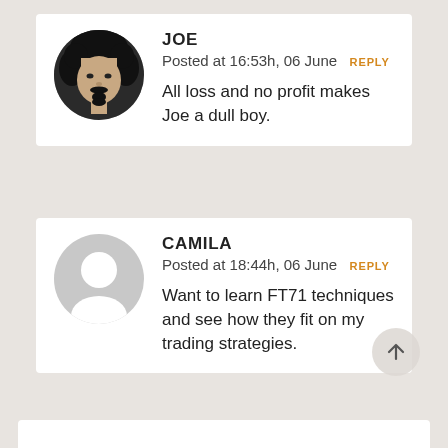[Figure (photo): Circular avatar photo of Joe, a man with curly dark hair and a dark goatee, black and white photo]
JOE
Posted at 16:53h, 06 June REPLY
All loss and no profit makes Joe a dull boy.
[Figure (illustration): Circular gray placeholder avatar silhouette for Camila]
CAMILA
Posted at 18:44h, 06 June REPLY
Want to learn FT71 techniques and see how they fit on my trading strategies.